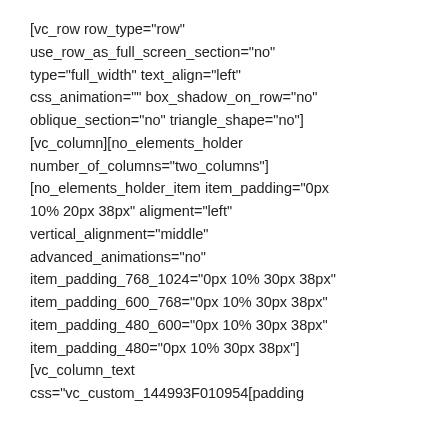[vc_row row_type="row" use_row_as_full_screen_section="no" type="full_width" text_align="left" css_animation="" box_shadow_on_row="no" oblique_section="no" triangle_shape="no"] [vc_column][no_elements_holder number_of_columns="two_columns"] [no_elements_holder_item item_padding="0px 10% 20px 38px" aligment="left" vertical_alignment="middle" advanced_animations="no" item_padding_768_1024="0px 10% 30px 38px" item_padding_600_768="0px 10% 30px 38px" item_padding_480_600="0px 10% 30px 38px" item_padding_480="0px 10% 30px 38px"] [vc_column_text css="vc_custom_144993F010954[padding...